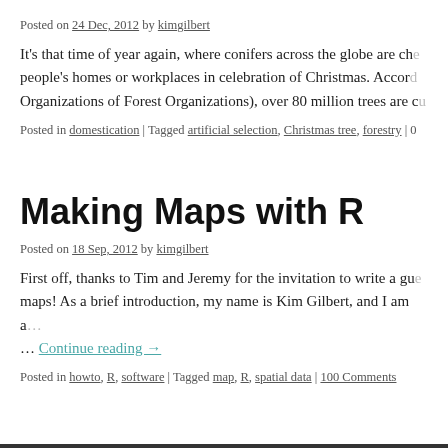Posted on 24 Dec, 2012 by kimgilbert
It's that time of year again, where conifers across the globe are ch… people's homes or workplaces in celebration of Christmas. Accor… Organizations of Forest Organizations), over 80 million trees are c…
Posted in domestication | Tagged artificial selection, Christmas tree, forestry | 0
Making Maps with R
Posted on 18 Sep, 2012 by kimgilbert
First off, thanks to Tim and Jeremy for the invitation to write a gu… maps! As a brief introduction, my name is Kim Gilbert, and I am a… … Continue reading →
Posted in howto, R, software | Tagged map, R, spatial data | 100 Comments